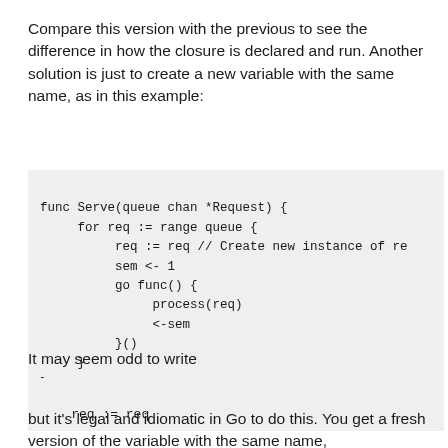Compare this version with the previous to see the difference in how the closure is declared and run. Another solution is just to create a new variable with the same name, as in this example:
It may seem odd to write
but it's legal and idiomatic in Go to do this. You get a fresh version of the variable with the same name,